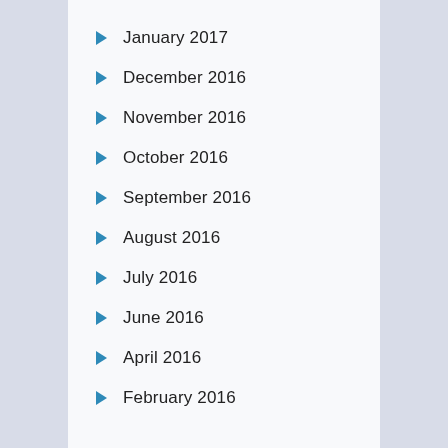January 2017
December 2016
November 2016
October 2016
September 2016
August 2016
July 2016
June 2016
April 2016
February 2016